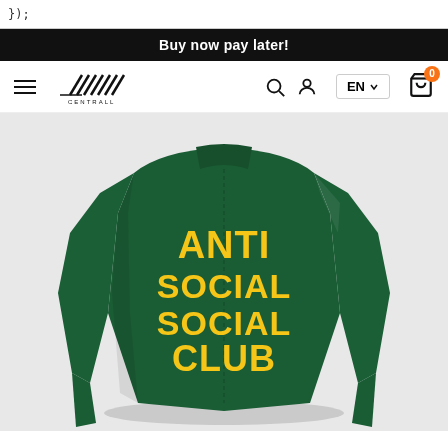});
Buy now pay later!
[Figure (logo): Centrall store logo with diagonal lines forming a stylized graphic]
[Figure (photo): Back view of a dark green Anti Social Social Club coach jacket with bold yellow text reading ANTI SOCIAL SOCIAL CLUB on the back]